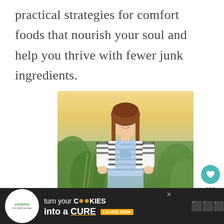practical strategies for comfort foods that nourish your soul and help you thrive with fewer junk ingredients.
[Figure (photo): Young woman with long brown hair wearing a striped shirt and denim overalls, standing outdoors in a field with warm golden hour lighting and green vegetation in the background.]
[Figure (infographic): Social media like button (heart icon in teal circle) with count 121, and a share button below it.]
[Figure (infographic): Advertisement bar at bottom: Cookies for Kids Cancer logo, text 'turn your COOKIES into a CURE LEARN HOW' on dark background.]